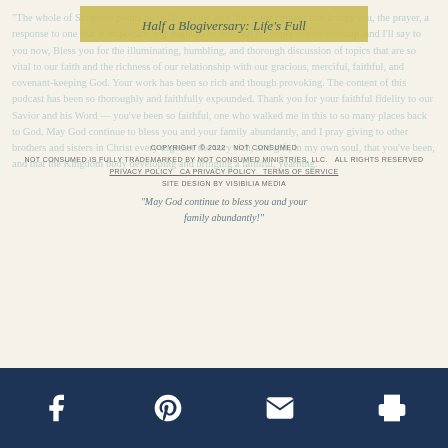Half a Blogiversary: Life's Full
Background text overlay with green/teal scripture and testimonial text
COPYRIGHT © 2022  NOT CONSUMED
NOT CONSUMED IS FULLY TRADEMARKED BY NOT CONSUMED MINISTRIES, LLC.   ALL RIGHTS RESERVED
PRIVACY POLICY   CA PRIVACY POLICY   TERMS OF SERVICE
SITE DESIGN BY VISIBILIA MEDIA
May God continue to bless you and your family abundantly!
Facebook  Pinterest  Email  Print